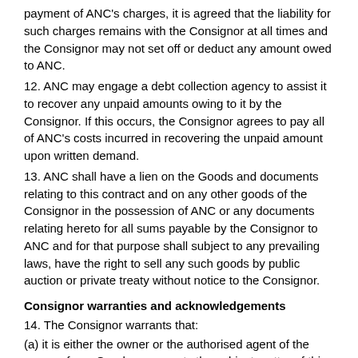payment of ANC's charges, it is agreed that the liability for such charges remains with the Consignor at all times and the Consignor may not set off or deduct any amount owed to ANC.
12. ANC may engage a debt collection agency to assist it to recover any unpaid amounts owing to it by the Consignor. If this occurs, the Consignor agrees to pay all of ANC's costs incurred in recovering the unpaid amount upon written demand.
13. ANC shall have a lien on the Goods and documents relating to this contract and on any other goods of the Consignor in the possession of ANC or any documents relating hereto for all sums payable by the Consignor to ANC and for that purpose shall subject to any prevailing laws, have the right to sell any such goods by public auction or private treaty without notice to the Consignor.
Consignor warranties and acknowledgements
14. The Consignor warrants that:
(a) it is either the owner or the authorised agent of the owner of any Goods or property the subject matter of this contract of carriage and by entering into this contract the Consignor accepts these conditions of contract for the Consignee as well as for all other persons on whose behalf the Consignor is acting;
(b) it will indemnify ANC in respect of any liability whatsoever and howsoever arising (including, without limiting the foregoing for